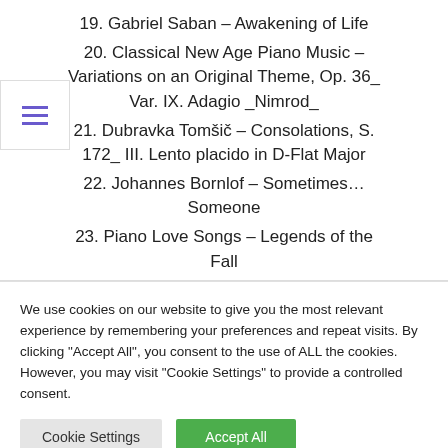19. Gabriel Saban – Awakening of Life
20. Classical New Age Piano Music – Variations on an Original Theme, Op. 36_ Var. IX. Adagio _Nimrod_
21. Dubravka Tomšič – Consolations, S. 172_ III. Lento placido in D-Flat Major
22. Johannes Bornlof – Sometimes... Someone
23. Piano Love Songs – Legends of the Fall
We use cookies on our website to give you the most relevant experience by remembering your preferences and repeat visits. By clicking "Accept All", you consent to the use of ALL the cookies. However, you may visit "Cookie Settings" to provide a controlled consent.